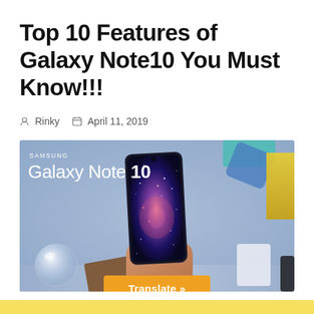Top 10 Features of Galaxy Note10 You Must Know!!!
Rinky  April 11, 2019
[Figure (photo): Samsung Galaxy Note 10 promotional photo showing a hand holding the Galaxy Note 10 smartphone with a galaxy/space wallpaper displayed on screen, surrounded by lifestyle props including a glass ball, brown notebook, and blue accessories on a light blue surface. Samsung Galaxy Note 10 branding text visible in the upper left of the image.]
Translate »